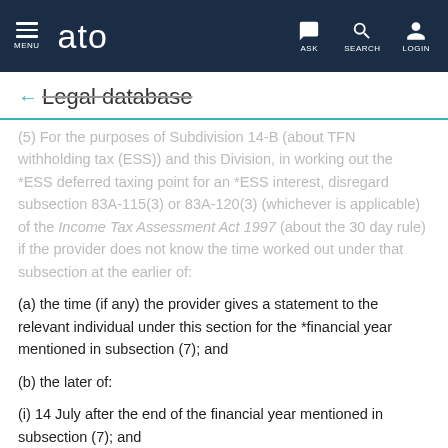MENU | ato | ASK | SEARCH | LOGIN
← Legal database
(5) For the purposes of Subdivision 14-B (about TFN withholding tax (ESS)) and this Division, in working out the *ESS deferred taxing point for an *ESS interest, disregard subsection 83A-115(3) or 83A-120(3) (whichever is applicable) of the Income Tax Assessment Act 1997 (about the 30 day rule) if the provider does not know the time worked out under that subsection at the earlier of:
(a) the time (if any) the provider gives a statement to the relevant individual under this section for the *financial year mentioned in subsection (7); and
(b) the later of:
(i) 14 July after the end of the financial year mentioned in subsection (7); and